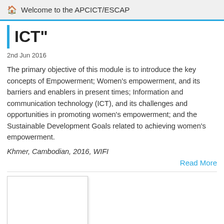Welcome to the APCICT/ESCAP
ICT"
2nd Jun 2016
The primary objective of this module is to introduce the key concepts of Empowerment; Women's empowerment, and its barriers and enablers in present times; Information and communication technology (ICT), and its challenges and opportunities in promoting women's empowerment; and the Sustainable Development Goals related to achieving women's empowerment.
Khmer, Cambodian, 2016, WIFI
Read More
[Figure (photo): White rectangular image placeholder with light border and shadow]